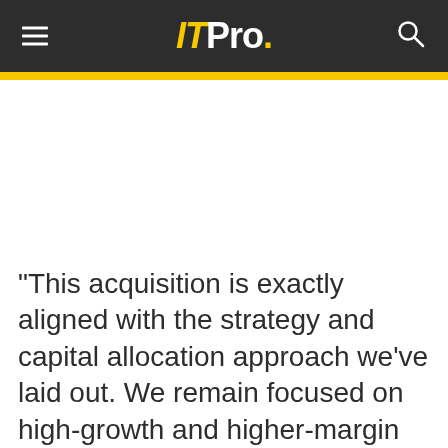ITPro.
"This acquisition is exactly aligned with the strategy and capital allocation approach we've laid out. We remain focused on high-growth and higher-margin